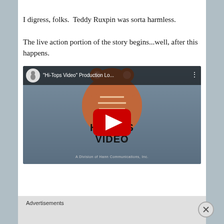I digress, folks.  Teddy Ruxpin was sorta harmless.
The live action portion of the story begins...well, after this happens.
[Figure (screenshot): YouTube video embed showing 'Hi-Tops Video' Production Logo with a bear mascot and red play button overlay. Channel icon visible in top-left corner. Video title bar reads: "Hi-Tops Video" Production Lo...]
Advertisements